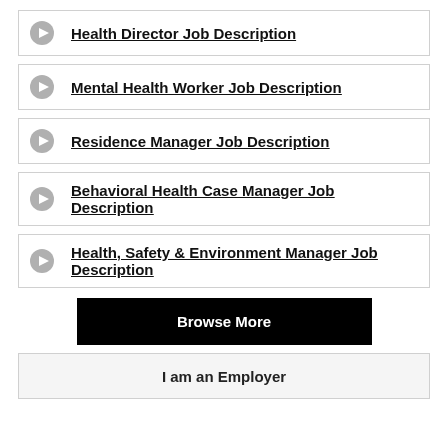Health Director Job Description
Mental Health Worker Job Description
Residence Manager Job Description
Behavioral Health Case Manager Job Description
Health, Safety & Environment Manager Job Description
Browse More
I am an Employer